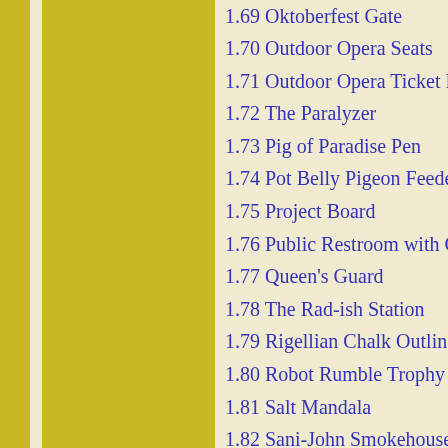1.69 Oktoberfest Gate
1.70 Outdoor Opera Seats
1.71 Outdoor Opera Ticket B…
1.72 The Paralyzer
1.73 Pig of Paradise Pen
1.74 Pot Belly Pigeon Feede…
1.75 Project Board
1.76 Public Restroom with C…
1.77 Queen's Guard
1.78 The Rad-ish Station
1.79 Rigellian Chalk Outline
1.80 Robot Rumble Trophy
1.81 Salt Mandala
1.82 Sani-John Smokehouse…
1.83 Shopping Cart Pile Up
1.84 Springfield Park Entranc…
1.85 Springfield Scale Model…
1.86 Springfield Sculpture Ga…